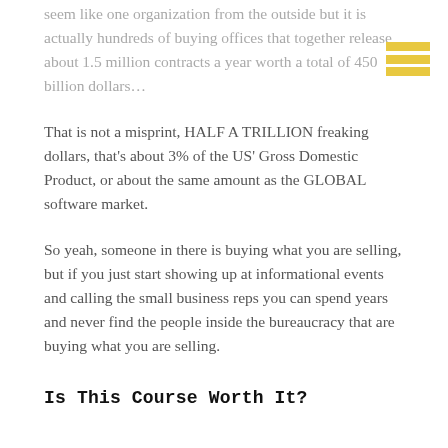seem like one organization from the outside but it is actually hundreds of buying offices that together release about 1.5 million contracts a year worth a total of 450 billion dollars…
That is not a misprint, HALF A TRILLION freaking dollars, that's about 3% of the US' Gross Domestic Product, or about the same amount as the GLOBAL software market.
So yeah, someone in there is buying what you are selling, but if you just start showing up at informational events and calling the small business reps you can spend years and never find the people inside the bureaucracy that are buying what you are selling.
Is This Course Worth It?